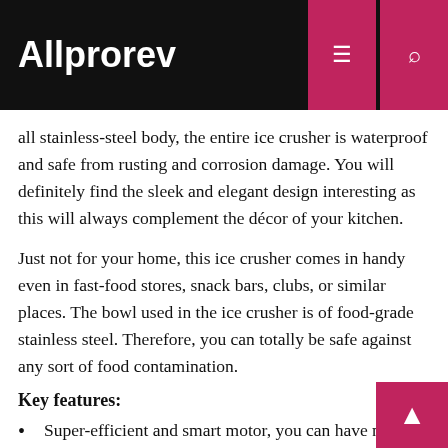Allprorev
all stainless-steel body, the entire ice crusher is waterproof and safe from rusting and corrosion damage. You will definitely find the sleek and elegant design interesting as this will always complement the décor of your kitchen.
Just not for your home, this ice crusher comes in handy even in fast-food stores, snack bars, clubs, or similar places. The bowl used in the ice crusher is of food-grade stainless steel. Therefore, you can totally be safe against any sort of food contamination.
Key features:
Super-efficient and smart motor, you can have much as 143 pounds of ice in one hour.
Softer and more even crushed ice every time is